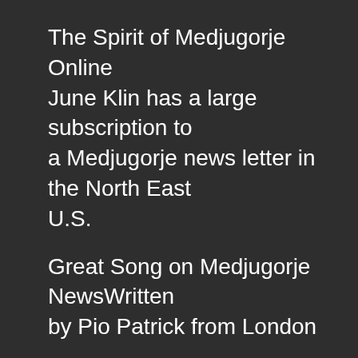The Spirit of Medjugorje Online June Klin has a large subscription to a Medjugorje news letter in the North East U.S.
Great Song on Medjugorje NewsWritten by Pio Patrick from London
Medjugorjepilgrim.com Great list of links from Owen Boyle searches far and near for useful links.
Chicago Medjugorje Trips Zdenko continues Medjugorje Pilgrimages after his father Andy Zovko who was given healing powers while in Medjugorje